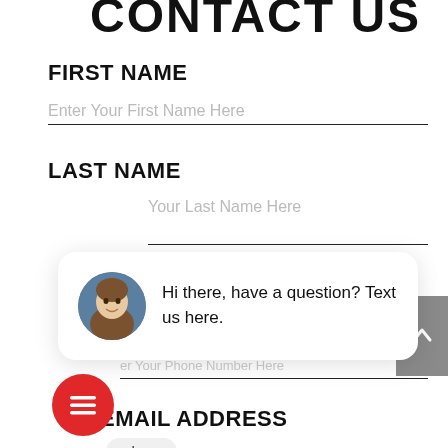CONTACT US
FIRST NAME
Enter Your First Name Here
LAST NAME
close
Your Last Name Here
[Figure (screenshot): Chat popup with avatar photo of a woman, text: Hi there, have a question? Text us here.]
Enter Your Phone Number Here
EMAIL ADDRESS